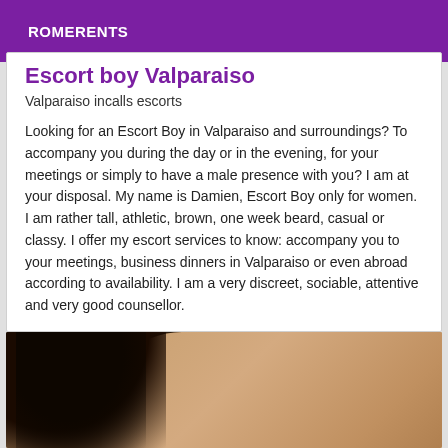ROMERENTS
Escort boy Valparaiso
Valparaiso incalls escorts
Looking for an Escort Boy in Valparaiso and surroundings? To accompany you during the day or in the evening, for your meetings or simply to have a male presence with you? I am at your disposal. My name is Damien, Escort Boy only for women. I am rather tall, athletic, brown, one week beard, casual or classy. I offer my escort services to know: accompany you to your meetings, business dinners in Valparaiso or even abroad according to availability. I am a very discreet, sociable, attentive and very good counsellor.
[Figure (photo): Photo showing a person with curly dark hair, viewed from behind/side, wearing a white top, with visible shoulder and skin tone.]